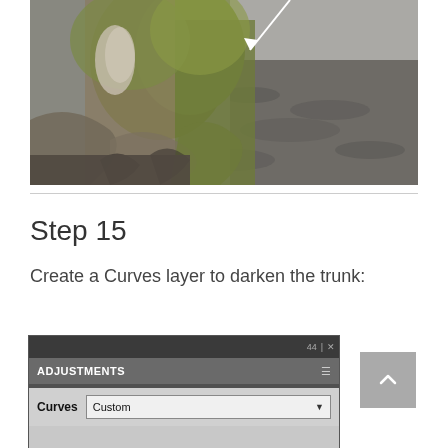[Figure (photo): Close-up photo of a large tree trunk base with green moss/algae, showing the flared root buttresses spreading out at ground level. The left side shows color with green-tinted bark; the right side shows a grey, rocky landscape in the background. A white arrow points downward toward the top of the trunk area.]
Step 15
Create a Curves layer to darken the trunk:
[Figure (screenshot): Screenshot of Adobe Photoshop Adjustments panel showing the Curves adjustment. The panel header shows 'ADJUSTMENTS' with panel menu icon. Below is a dropdown labeled 'Curves' with 'Custom' selected.]